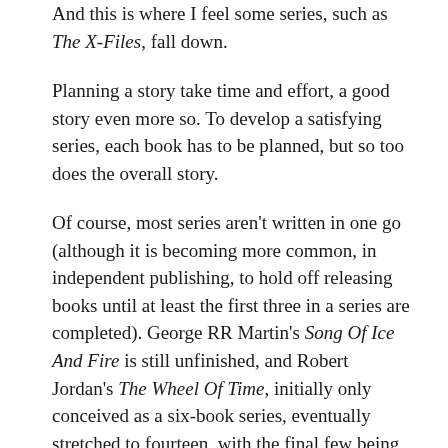And this is where I feel some series, such as The X-Files, fall down.
Planning a story take time and effort, a good story even more so. To develop a satisfying series, each book has to be planned, but so too does the overall story.
Of course, most series aren't written in one go (although it is becoming more common, in independent publishing, to hold off releasing books until at least the first three in a series are completed). George RR Martin's Song Of Ice And Fire is still unfinished, and Robert Jordan's The Wheel Of Time, initially only conceived as a six-book series, eventually stretched to fourteen, with the final few being written by Brandon Sanderson after Jordan's death. It's hard to see how these series could have been planned out in their entirety in any detail.